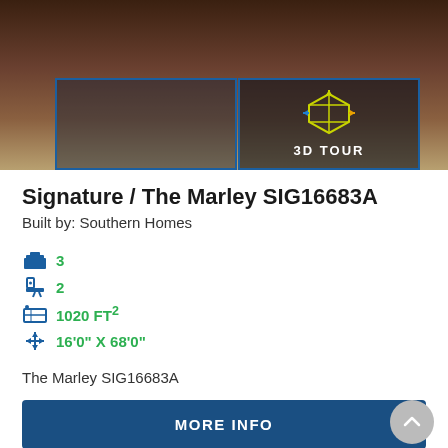[Figure (photo): Interior kitchen photo with dark wood cabinetry and marble countertop, with two overlaid panels: left panel with blue border (empty/dark), right panel with blue border showing a 3D cube icon and '3D TOUR' label]
Signature / The Marley SIG16683A
Built by: Southern Homes
3 (bedrooms)
2 (bathrooms)
1020 FT²
16'0" X 68'0"
The Marley SIG16683A
MORE INFO
PRICE QUOTE